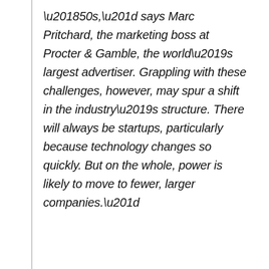‘50s,” says Marc Pritchard, the marketing boss at Procter & Gamble, the world’s largest advertiser. Grappling with these challenges, however, may spur a shift in the industry’s structure. There will always be startups, particularly because technology changes so quickly. But on the whole, power is likely to move to fewer, larger companies.”